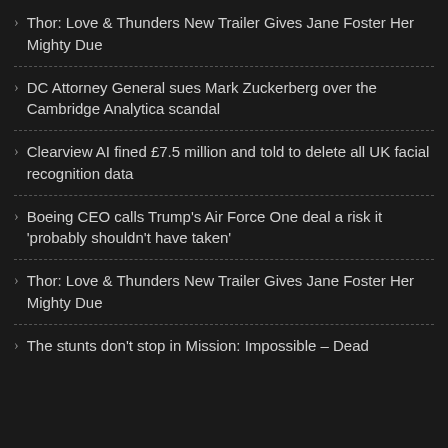Thor: Love & Thunders New Trailer Gives Jane Foster Her Mighty Due
DC Attorney General sues Mark Zuckerberg over the Cambridge Analytica scandal
Clearview AI fined £7.5 million and told to delete all UK facial recognition data
Boeing CEO calls Trump's Air Force One deal a risk it 'probably shouldn't have taken'
Thor: Love & Thunders New Trailer Gives Jane Foster Her Mighty Due
The stunts don't stop in Mission: Impossible – Dead